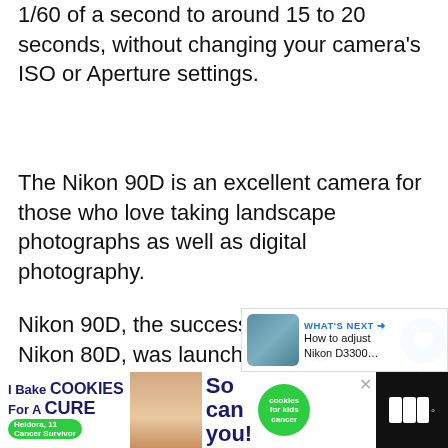1/60 of a second to around 15 to 20 seconds, without changing your camera's ISO or Aperture settings.
The Nikon 90D is an excellent camera for those who love taking landscape photographs as well as digital photography.
Nikon 90D, the successor of Nikon 80D, was launched in the year 2008. It has a 12.3-megapixel DX-format CMOS sensor and shares sensitivity as the D300 also comes with a native ISO range of 200 to 3200, plus L1( 100) and H1 (6,400).
The Nikon 90D possesses a high-resolution 3-
[Figure (screenshot): Cookie baking advertisement banner at bottom of page with text 'I Bake COOKIES For A CURE' and green circle logo]